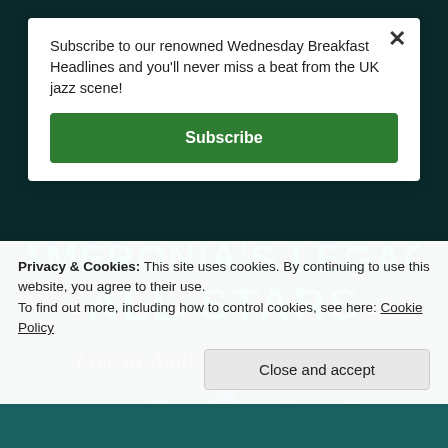Subscribe to our renowned Wednesday Breakfast Headlines and you'll never miss a beat from the UK jazz scene!
Subscribe
[Figure (photo): Album artwork for Dameronia's Legacy All-Stars Live at Audi Forum Ingolstadt. Dark teal background with large cyan block letters reading DAMERONIA'S LEGACY and ALL-STARS with stars, and gold cursive text reading Live at Audi Forum Ingolstadt. Silhouetted musicians in cyan lighting at bottom.]
Privacy & Cookies: This site uses cookies. By continuing to use this website, you agree to their use.
To find out more, including how to control cookies, see here: Cookie Policy
Close and accept